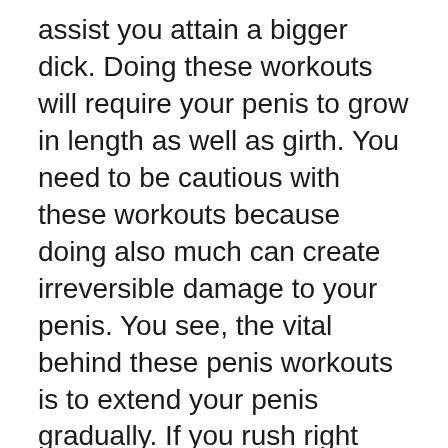assist you attain a bigger dick. Doing these workouts will require your penis to grow in length as well as girth. You need to be cautious with these workouts because doing also much can create irreversible damage to your penis. You see, the vital behind these penis workouts is to extend your penis gradually. If you rush right into it, after that it will certainly be too early to observe any type of positive outcomes and also your dick will not have the ability to expand any longer.
Just how exactly do penis exercises work? Well, it's not rocket science yet it's not brain surgery also. The concept behind it is basic enough: the more pressure you put in on your penis, the much faster it grows. As well